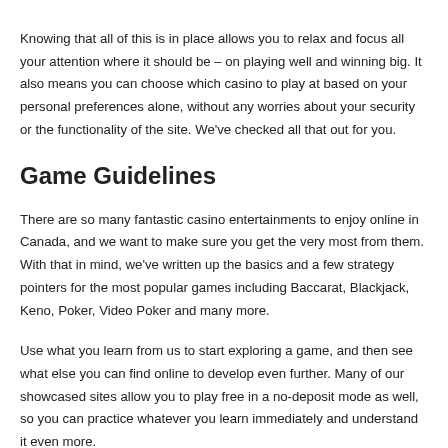Knowing that all of this is in place allows you to relax and focus all your attention where it should be – on playing well and winning big. It also means you can choose which casino to play at based on your personal preferences alone, without any worries about your security or the functionality of the site. We've checked all that out for you.
Game Guidelines
There are so many fantastic casino entertainments to enjoy online in Canada, and we want to make sure you get the very most from them. With that in mind, we've written up the basics and a few strategy pointers for the most popular games including Baccarat, Blackjack, Keno, Poker, Video Poker and many more.
Use what you learn from us to start exploring a game, and then see what else you can find online to develop even further. Many of our showcased sites allow you to play free in a no-deposit mode as well, so you can practice whatever you learn immediately and understand it even more.